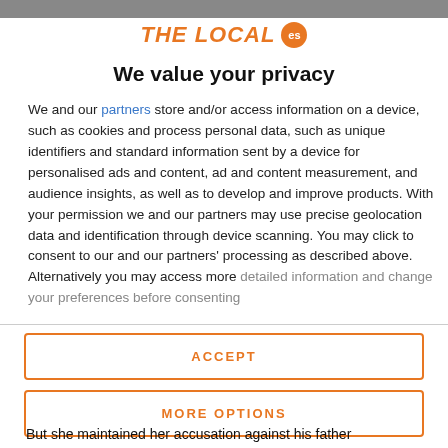[Figure (logo): The Local ES logo with orange italic bold text and orange circular 'es' badge]
We value your privacy
We and our partners store and/or access information on a device, such as cookies and process personal data, such as unique identifiers and standard information sent by a device for personalised ads and content, ad and content measurement, and audience insights, as well as to develop and improve products. With your permission we and our partners may use precise geolocation data and identification through device scanning. You may click to consent to our and our partners' processing as described above. Alternatively you may access more detailed information and change your preferences before consenting
ACCEPT
MORE OPTIONS
But she maintained her accusation against his father